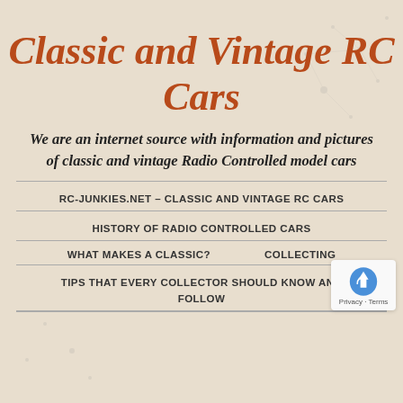Classic and Vintage RC Cars
We are an internet source with information and pictures of classic and vintage Radio Controlled model cars
RC-JUNKIES.NET – CLASSIC AND VINTAGE RC CARS
HISTORY OF RADIO CONTROLLED CARS
WHAT MAKES A CLASSIC?      COLLECTING
TIPS THAT EVERY COLLECTOR SHOULD KNOW AND FOLLOW